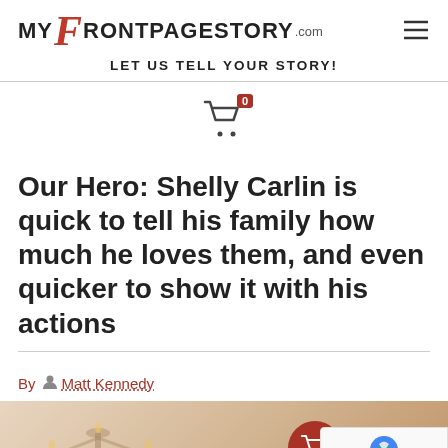MY F RONTPAGESTORY.com — LET US TELL YOUR STORY!
[Figure (other): Shopping cart icon with badge showing 0]
Our Hero: Shelly Carlin is quick to tell his family how much he loves them, and even quicker to show it with his actions
By Matt Kennedy
[Figure (photo): Partial photo of a person with candelabra decoration in background, with a floating red cart button and reCAPTCHA badge overlay]